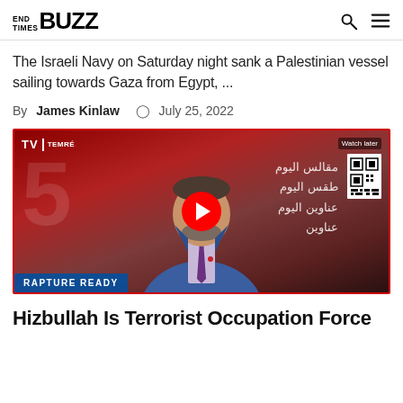END TIMES BUZZ
The Israeli Navy on Saturday night sank a Palestinian vessel sailing towards Gaza from Egypt, ...
By James Kinlaw  July 25, 2022
[Figure (screenshot): YouTube video embed showing a man in a blue suit speaking on a TV program with Arabic text in background. Label reads 'RAPTURE READY' in bottom left corner. 'Watch later' option visible top right with a QR code.]
Hizbullah Is Terrorist Occupation Force